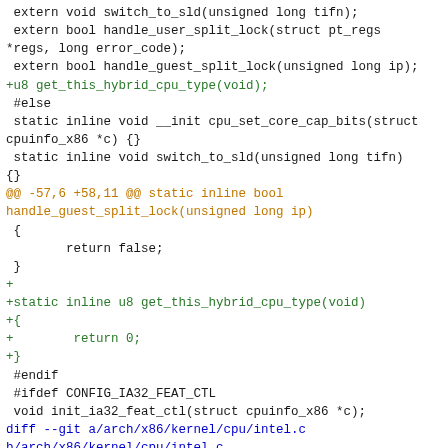Code diff showing changes to x86 CPU hybrid type detection functions and diff header for arch/x86/kernel/cpu/intel.c